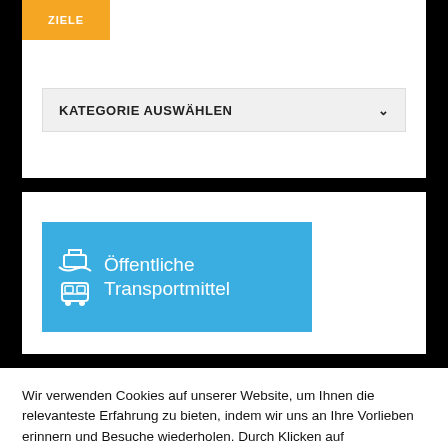ZIELE
KATEGORIE AUSWÄHLEN
[Figure (screenshot): Blue button with transport icons (boat, bus, tram) and text 'Öffentliche Transportmittel']
Wir verwenden Cookies auf unserer Website, um Ihnen die relevanteste Erfahrung zu bieten, indem wir uns an Ihre Vorlieben erinnern und Besuche wiederholen. Durch Klicken auf "Akzeptieren" stimmen Sie der Verwendung ALLER Cookies zu. Oder klicken Sie auf die Cookie Einstellungen um sie nach Ihren Wünschen zu änderrn
Cookie Einstellungen
ACCEPT